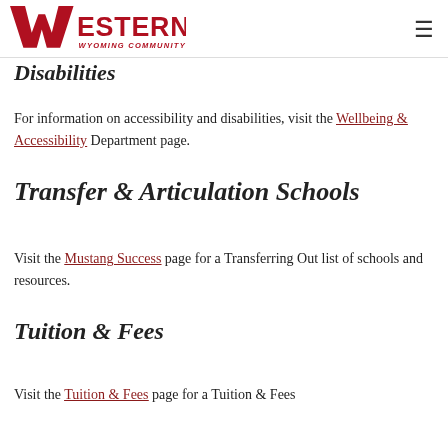Western Wyoming Community College
Disabilities
For information on accessibility and disabilities, visit the Wellbeing & Accessibility Department page.
Transfer & Articulation Schools
Visit the Mustang Success page for a Transferring Out list of schools and resources.
Tuition & Fees
Visit the Tuition & Fees page for a Tuition & Fees